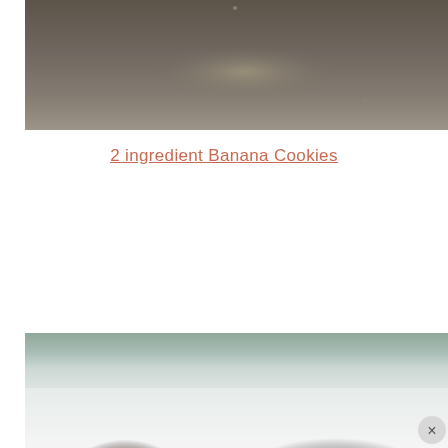[Figure (photo): Top portion of a food photo showing a dark baking sheet with cookies, dark brownish-grey background with slight highlight/glare in center]
2 ingredient Banana Cookies
[Figure (photo): Bottom portion showing another food image partially visible, with a muted green/grey top bar and white lower section with pinkish-red food items and a close (X) button overlay in bottom right]